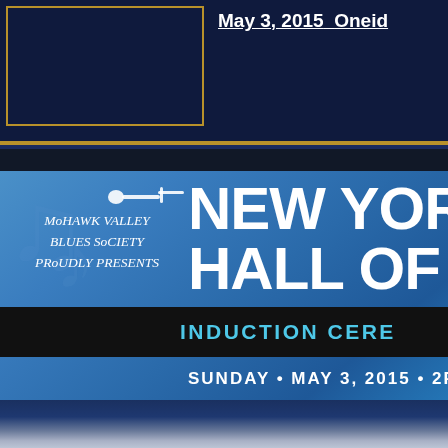May 3, 2015  Oneid
[Figure (illustration): New York Blues Hall of Fame Induction Ceremony poster/banner. Blue textured background with musical note watermarks. Left side shows a guitar icon silhouette and italic text reading 'Mohawk Valley Blues Society Proudly Presents'. Right side has large bold white text 'NEW YORK HALL OF' with a black diagonal ribbon banner reading 'INDUCTION CERE...' in cyan letters. Below reads 'SUNDAY • MAY 3, 2015 • 2PM •'. Bottom portion shows a dark blue and cloudy sky background.]